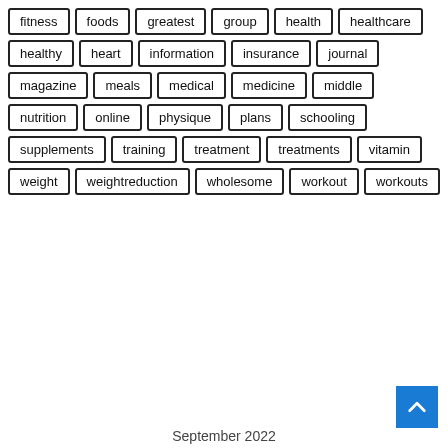fitness
foods
greatest
group
health
healthcare
healthy
heart
information
insurance
journal
magazine
meals
medical
medicine
middle
nutrition
online
physique
plans
schooling
supplements
training
treatment
treatments
vitamin
weight
weightreduction
wholesome
workout
workouts
September 2022